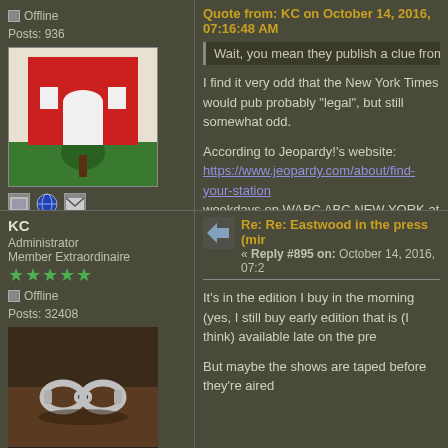Offline
Posts: 936
[Figure (illustration): City crest with red castle on white background, green base with tree]
[Figure (illustration): Three small icons: image, globe, envelope]
Quote from: KC on October 14, 2016, 07:16:48 AM
Wait, you mean they publish a clue from the sh
I find it very odd that the New York Times would pub probably "legal", but still somewhat odd.
According to Jeopardy!'s website:
https://www.jeopardy.com/about/find-your-station
weekdays on WABC ABC NEW YORK at ABC 7 AT
When on Thursday was the New York Times clue fo
« Last Edit: October 14, 2016, 09:29:48 PM by Dan Dassow »
KC
Administrator
Member Extraordinaire
★★★★★
Offline
Posts: 32408
[Figure (photo): Handcuffs on a dark wooden surface]
Control ...
Re: Re: Eastwood in the press (mir
« Reply #895 on: October 14, 2016, 07:2
It's in the edition I buy in the morning (yes, I still buy early edition that is (I think) available late on the pre
But maybe the shows are taped before they're aired